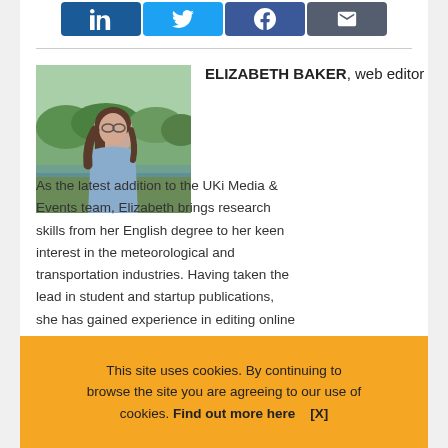[Figure (other): Social sharing buttons: LinkedIn (blue), Twitter (light blue), Facebook (dark blue), Email (dark grey)]
[Figure (photo): Portrait photo of Elizabeth Baker outdoors near a river with greenery in the background]
ELIZABETH BAKER, web editor
As the latest addition to the UKi Media & Events team, Elizabeth brings research skills from her English degree to her keen interest in the meteorological and transportation industries. Having taken the lead in student and startup publications, she has gained experience in editing online and print titles on a wide variety of topics. In her current role as Editorial Assistant, Elizabeth will create new and topical content on the pioneering technologies in
This site uses cookies. By continuing to browse the site you are agreeing to our use of cookies. Find out more here    [X]